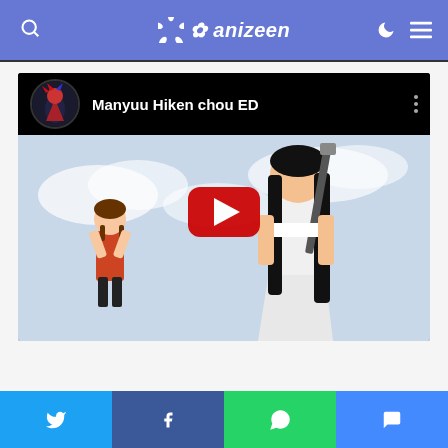anizeen
[Figure (screenshot): YouTube video embed showing 'Manyuu Hiken chou ED' with anime characters in background scene]
[Figure (other): Social share bar with Twitter, Facebook, WhatsApp, and Messenger buttons]